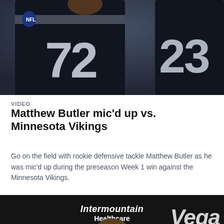[Figure (photo): Two NFL players in dark Raiders uniforms, jersey numbers 72 and 23 visible, photographed from chest up on a football field]
VIDEO
Matthew Butler mic'd up vs. Minnesota Vikings
Go on the field with rookie defensive tackle Matthew Butler as he was mic'd up during the preseason Week 1 win against the Minnesota Vikings.
[Figure (screenshot): Video thumbnail showing a man at a press conference podium in front of an Intermountain Healthcare Performance Center backdrop and Raiders logo, with a play button overlay]